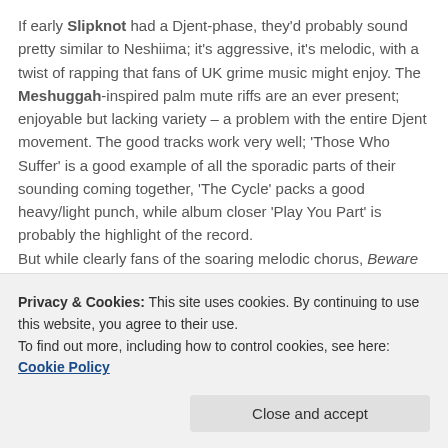If early Slipknot had a Djent-phase, they'd probably sound pretty similar to Neshiima; it's aggressive, it's melodic, with a twist of rapping that fans of UK grime music might enjoy. The Meshuggah-inspired palm mute riffs are an ever present; enjoyable but lacking variety – a problem with the entire Djent movement. The good tracks work very well; 'Those Who Suffer' is a good example of all the sporadic parts of their sounding coming together, 'The Cycle' packs a good heavy/light punch, while album closer 'Play You Part' is probably the highlight of the record.
But while clearly fans of the soaring melodic chorus, Beware of Gifts is guilty of being steadfastly mid-
impression.
Privacy & Cookies: This site uses cookies. By continuing to use this website, you agree to their use.
To find out more, including how to control cookies, see here: Cookie Policy